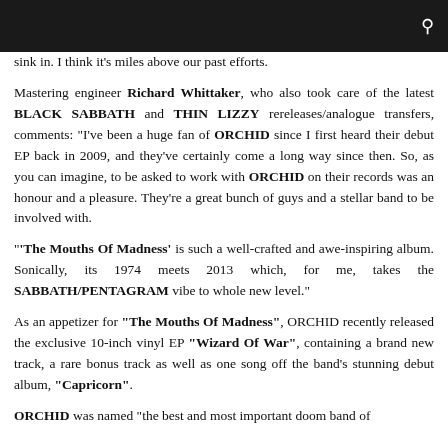[search icon/navigation bar]
sink in. I think it's miles above our past efforts.
Mastering engineer Richard Whittaker, who also took care of the latest BLACK SABBATH and THIN LIZZY rereleases/analogue transfers, comments: "I've been a huge fan of ORCHID since I first heard their debut EP back in 2009, and they've certainly come a long way since then. So, as you can imagine, to be asked to work with ORCHID on their records was an honour and a pleasure. They're a great bunch of guys and a stellar band to be involved with.
"'The Mouths Of Madness' is such a well-crafted and awe-inspiring album. Sonically, its 1974 meets 2013 which, for me, takes the SABBATH/PENTAGRAM vibe to whole new level."
As an appetizer for "The Mouths Of Madness", ORCHID recently released the exclusive 10-inch vinyl EP "Wizard Of War", containing a brand new track, a rare bonus track as well as one song off the band's stunning debut album, "Capricorn".
ORCHID was named "the best and most important doom band of